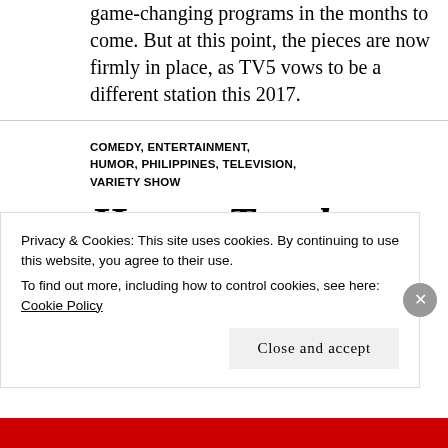game-changing programs in the months to come. But at this point, the pieces are now firmly in place, as TV5 vows to be a different station this 2017.
COMEDY, ENTERTAINMENT, HUMOR, PHILIPPINES, TELEVISION, VARIETY SHOW
Happy Truck Becomes
Privacy & Cookies: This site uses cookies. By continuing to use this website, you agree to their use.
To find out more, including how to control cookies, see here: Cookie Policy
Close and accept